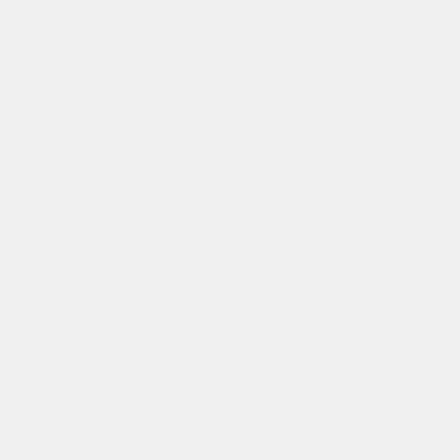Paperwork Reduction Act of 1996, 114 Banking L.J. 298 (1997).
Andrew L. Levy, The Paperwork Reduction Act of
Analysis of Federal Income Tax Complexity Utilizing Internal Revenue Service Estimates for Taxpayer Paperwork Burden 45 Oil &